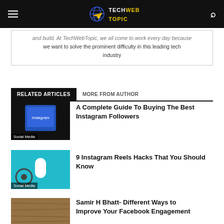TechWebTopic
and build. At TechWebTopic, we all come to work every day because we want to solve the prominent difficulty in this leading tech industry
RELATED ARTICLES   MORE FROM AUTHOR
[Figure (photo): Instagram app on a tablet with dark background, labeled Social Media]
A Complete Guide To Buying The Best Instagram Followers
[Figure (photo): White cylindrical object on teal background with film reel, labeled Social Media]
9 Instagram Reels Hacks That You Should Know
[Figure (photo): Wooden surface with objects, partially visible]
Samir H Bhatt- Different Ways to Improve Your Facebook Engagement